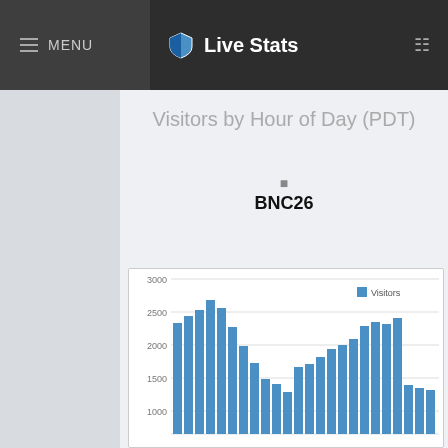MENU  Live Stats
Visitors by Hour of Day (PDT)
BNC26
[Figure (bar-chart): Visitors by Hour of Day (PDT)]